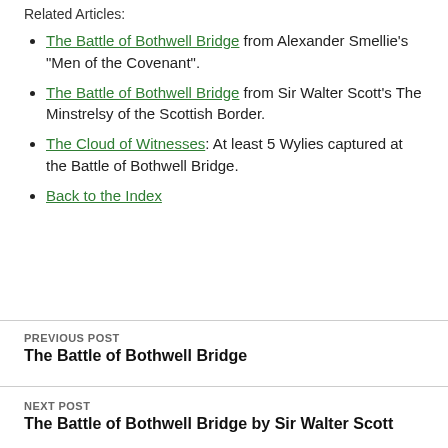Related Articles:
The Battle of Bothwell Bridge from Alexander Smellie’s “Men of the Covenant”.
The Battle of Bothwell Bridge from Sir Walter Scott’s The Minstrelsy of the Scottish Border.
The Cloud of Witnesses: At least 5 Wylies captured at the Battle of Bothwell Bridge.
Back to the Index
PREVIOUS POST
The Battle of Bothwell Bridge
NEXT POST
The Battle of Bothwell Bridge by Sir Walter Scott